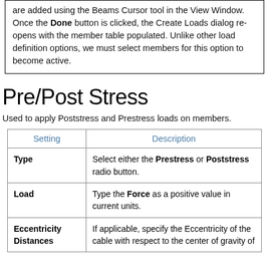are added using the Beams Cursor tool in the View Window. Once the Done button is clicked, the Create Loads dialog re-opens with the member table populated. Unlike other load definition options, we must select members for this option to become active.
Pre/Post Stress
Used to apply Poststress and Prestress loads on members.
| Setting | Description |
| --- | --- |
| Type | Select either the Prestress or Poststress radio button. |
| Load | Type the Force as a positive value in current units. |
| Eccentricity Distances | If applicable, specify the Eccentricity of the cable with respect to the center of gravity of |